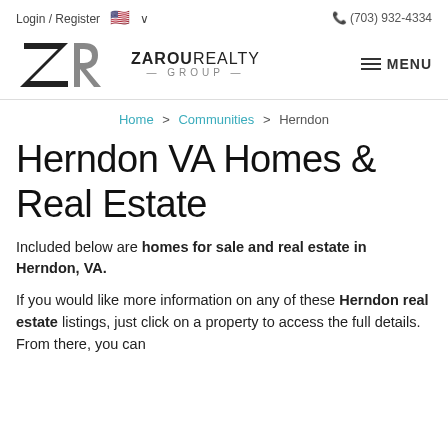Login / Register   🇺🇸 ∨   (703) 932-4334
[Figure (logo): Zarou Realty Group logo with stylized ZR letters and text]
Home > Communities > Herndon
Herndon VA Homes & Real Estate
Included below are homes for sale and real estate in Herndon, VA.
If you would like more information on any of these Herndon real estate listings, just click on a property to access the full details. From there, you can